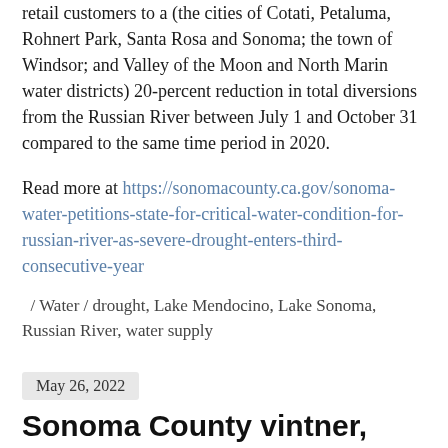retail customers to a (the cities of Cotati, Petaluma, Rohnert Park, Santa Rosa and Sonoma; the town of Windsor; and Valley of the Moon and North Marin water districts) 20-percent reduction in total diversions from the Russian River between July 1 and October 31 compared to the same time period in 2020.
Read more at https://sonomacounty.ca.gov/sonoma-water-petitions-state-for-critical-water-condition-for-russian-river-as-severe-drought-enters-third-consecutive-year
/ Water / drought, Lake Mendocino, Lake Sonoma, Russian River, water supply
May 26, 2022
Sonoma County vintner, business face $3.75 million fine for alleged environmental damage
Emily Wilder, THE PRESS DEMOCRAT